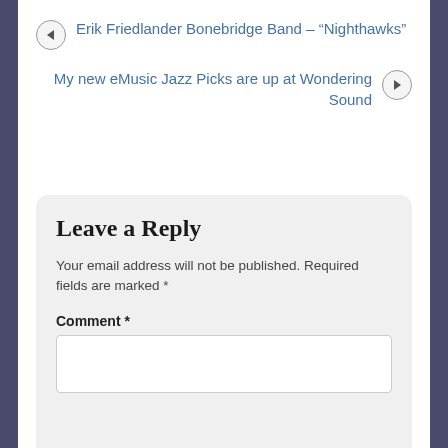Erik Friedlander Bonebridge Band – “Nighthawks”
My new eMusic Jazz Picks are up at Wondering Sound
Leave a Reply
Your email address will not be published. Required fields are marked *
Comment *